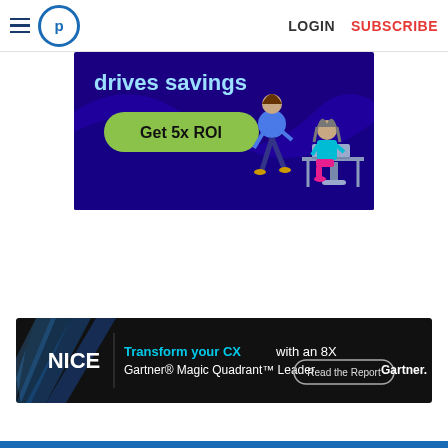LOGIN  SUBSCRIBE
[Figure (infographic): Advertisement banner with dark blue/purple background showing 'drives savings' text, a green pill button 'Get 5x ROI', and illustrated figures of two women, one walking and one sitting at a desk with a laptop.]
[Figure (infographic): NICE advertisement banner with dark background. Left: NICE logo in white bold text. Center: 'Transform your CX with an 8X Gartner® Magic Quadrant™ Leader' with blue highlighted 'Transform your CX'. A button reads 'Read the Report'. Right: 'Gartner.' logo in white. Background has blue light rays.]